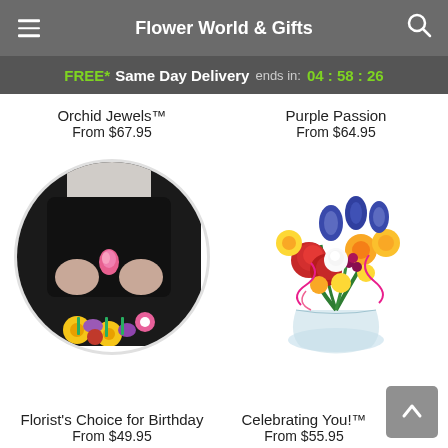Flower World & Gifts
FREE* Same Day Delivery ends in: 04:58:26
Orchid Jewels™
From $67.95
Purple Passion
From $64.95
[Figure (photo): Person holding a pink rose bud in black apron, with a colorful flower bouquet below (circular crop)]
[Figure (photo): Colorful flower arrangement in a glass vase with red carnations, yellow daisies, blue irises, and curly ribbons]
Florist's Choice for Birthday
From $49.95
Celebrating You!™
From $55.95